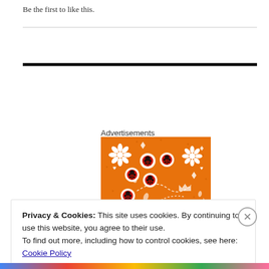Be the first to like this.
[Figure (illustration): Orange bandana/fabric pattern with white floral designs (daisy flowers, hearts, diamonds, leaves) and five ladybugs with white circular halos on orange background]
Advertisements
Privacy & Cookies: This site uses cookies. By continuing to use this website, you agree to their use.
To find out more, including how to control cookies, see here: Cookie Policy
Close and accept